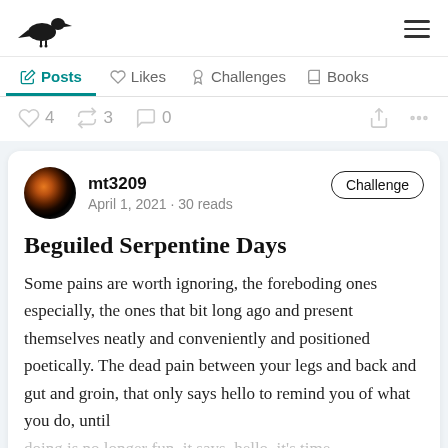mt3209 — Posts, Likes, Challenges, Books navigation
♡ 4   ⟳ 3   □ 0
mt3209
April 1, 2021 · 30 reads
Beguiled Serpentine Days
Some pains are worth ignoring, the foreboding ones especially, the ones that bit long ago and present themselves neatly and conveniently and positioned poetically. The dead pain between your legs and back and gut and groin, that only says hello to remind you of what you do, until doing is no longer fun, it says, hello, it's time